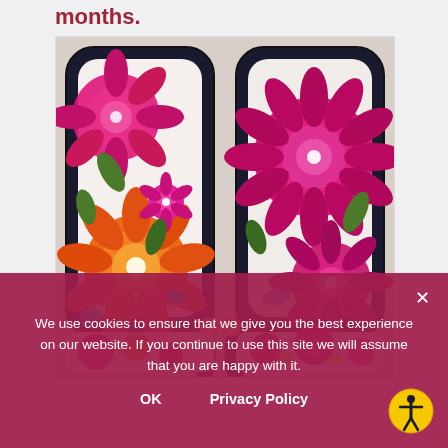months.
[Figure (photo): Two ornate French-style chairs with black carved wooden frames, upholstered in vibrant floral fabric featuring pink, magenta, orange, and green flowers on a white background. The chairs face each other symmetrically.]
We use cookies to ensure that we give you the best experience on our website. If you continue to use this site we will assume that you are happy with it.
OK   Privacy Policy